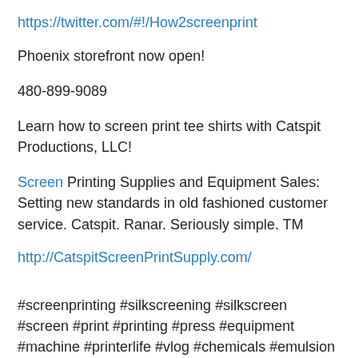https://twitter.com/#!/How2screenprint
Phoenix storefront now open!
480-899-9089
Learn how to screen print tee shirts with Catspit Productions, LLC!
Screen Printing Supplies and Equipment Sales: Setting new standards in old fashioned customer service. Catspit. Ranar. Seriously simple. TM
http://CatspitScreenPrintSupply.com/
#screenprinting #silkscreening #silkscreen #screen #print #printing #press #equipment #machine #printerlife #vlog #chemicals #emulsion #degreaser #hazeremover